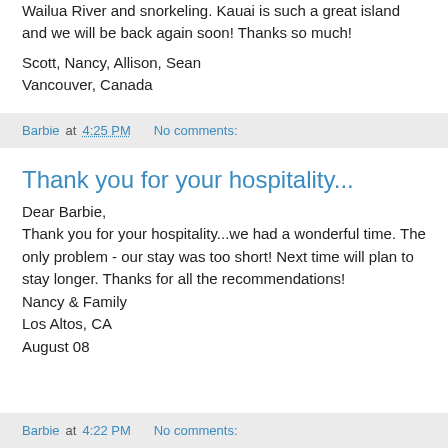Wailua River and snorkeling. Kauai is such a great island and we will be back again soon! Thanks so much!
Scott, Nancy, Allison, Sean
Vancouver, Canada
Barbie at 4:25 PM   No comments:
Thank you for your hospitality...
Dear Barbie,
Thank you for your hospitality...we had a wonderful time. The only problem - our stay was too short! Next time will plan to stay longer. Thanks for all the recommendations!
Nancy & Family
Los Altos, CA
August 08
Barbie at 4:22 PM   No comments: